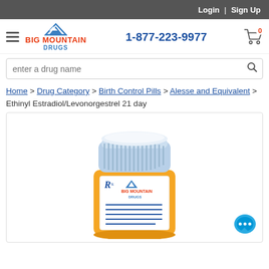Login | Sign Up
[Figure (logo): Big Mountain Drugs logo with mountain icon, phone number 1-877-223-9977, hamburger menu, and cart icon]
enter a drug name
Home > Drug Category > Birth Control Pills > Alesse and Equivalent > Ethinyl Estradiol/Levonorgestrel 21 day
[Figure (illustration): Orange prescription pill bottle with white cap, Big Mountain Drugs Rx label with blue mountain logo and horizontal lines]